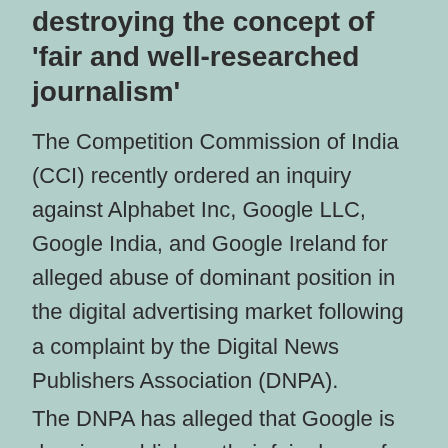destroying the concept of 'fair and well-researched journalism'
The Competition Commission of India (CCI) recently ordered an inquiry against Alphabet Inc, Google LLC, Google India, and Google Ireland for alleged abuse of dominant position in the digital advertising market following a complaint by the Digital News Publishers Association (DNPA).
The DNPA has alleged that Google is denying publishers their fair share of revenue by parting only 10-15% of the digital advertising revenue with the news websites. Further, the revenue